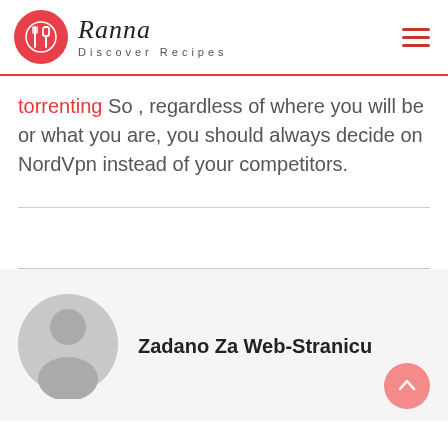[Figure (logo): Ranna Discover Recipes logo with red circle icon containing fork and spatula symbols, styled italic brand name and hamburger menu icon]
torrenting So , regardless of where you will be or what you are, you should always decide on NordVpn instead of your competitors.
Zadano Za Web-Stranicu